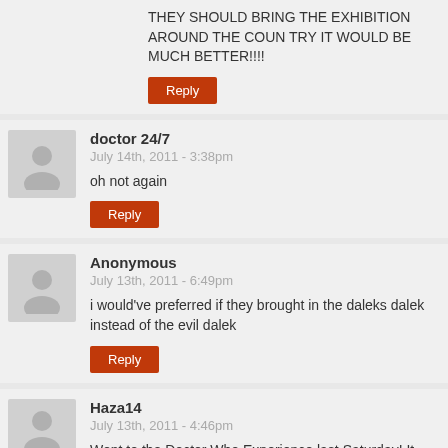THEY SHOULD BRING THE EXHIBITION AROUND THE COUN TRY IT WOULD BE MUCH BETTER!!!!
Reply
doctor 24/7
July 14th, 2011 - 3:38pm
oh not again
Reply
Anonymous
July 13th, 2011 - 6:49pm
i would've preferred if they brought in the daleks dalek instead of the evil dalek
Reply
Haza14
July 13th, 2011 - 4:46pm
Went to the Doctor Who Experience last Saturday! It